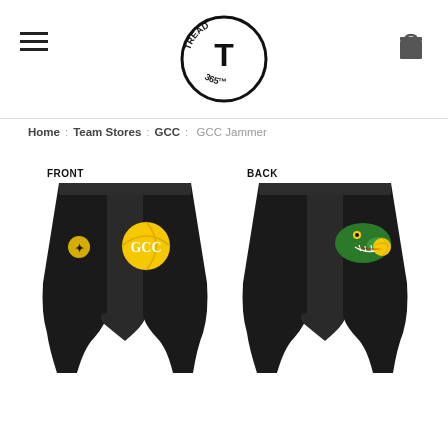Tread 365 logo, navigation menu, cart icon
Home : Team Stores : GCC : GCC Jammer
[Figure (illustration): Front and back view of GCC black water polo jammer shorts. Front view shows small yellow Tread365 logo on left leg and GCC text on yellow water polo ball graphic on right leg. Back view shows GCC alligator mascot logo on right leg. Labels FRONT and BACK above respective views.]